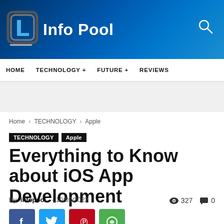[Figure (logo): Info Pool website logo with stylized letter icon and blue gradient header background]
HOME   TECHNOLOGY +   FUTURE +   REVIEWS
Home › TECHNOLOGY › Apple
TECHNOLOGY   Apple
Everything to Know about iOS App Development
By infopool - 10/02/2022   327   0